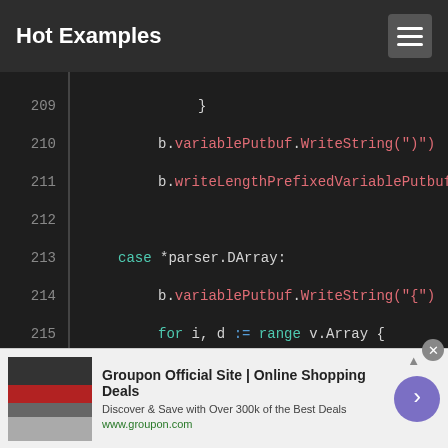Hot Examples
[Figure (screenshot): Code editor showing Go source code lines 210-224 with syntax highlighting on dark background]
[Figure (infographic): Advertisement banner: Groupon Official Site | Online Shopping Deals. Discover & Save with Over 300k of the Best Deals. www.groupon.com]